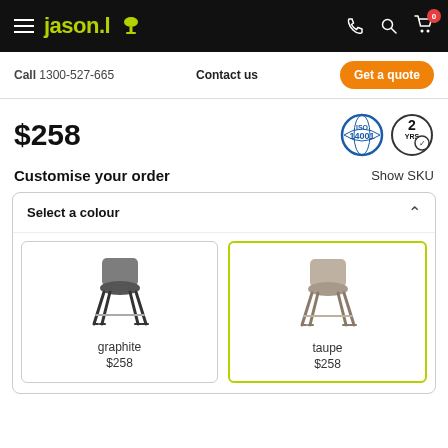jason.l — hamburger menu, logo, phone, search, cart (0)
Call 1300-527-665   Contact us   Get a quote
$258
[Figure (logo): ISO 14001 certification badge and 2 Year warranty badge]
Customise your order   Show SKU
Select a colour
[Figure (photo): Two bar stool chair options: graphite ($258) and taupe ($258, selected with green border)]